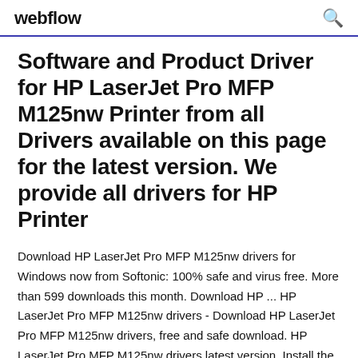webflow
Software and Product Driver for HP LaserJet Pro MFP M125nw Printer from all Drivers available on this page for the latest version. We provide all drivers for HP Printer
Download HP LaserJet Pro MFP M125nw drivers for Windows now from Softonic: 100% safe and virus free. More than 599 downloads this month. Download HP ... HP LaserJet Pro MFP M125nw drivers - Download HP LaserJet Pro MFP M125nw drivers, free and safe download. HP LaserJet Pro MFP M125nw drivers latest version. Install the latest driver for HP laser...